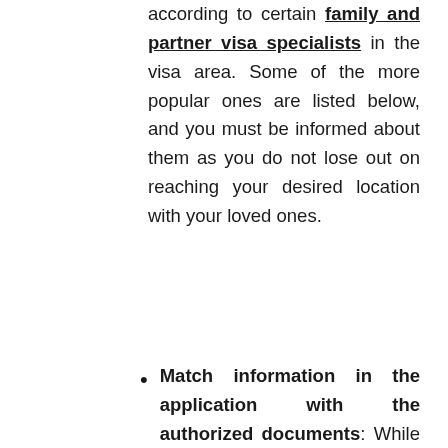according to certain family and partner visa specialists in the visa area. Some of the more popular ones are listed below, and you must be informed about them as you do not lose out on reaching your desired location with your loved ones.
Match information in the application with the authorized documents: While completing out a visa application form, candidates must provide all of the needed details, in the format specified, and in accordance with their travel documents. Incorrect information on the visa application form, like the applicant's name, card number, or born date being not matching the information in the